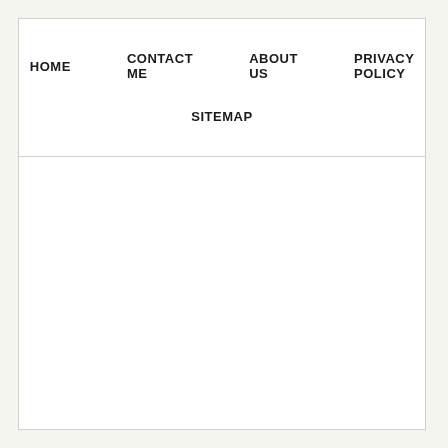HOME   CONTACT ME   ABOUT US   PRIVACY POLICY   SITEMAP